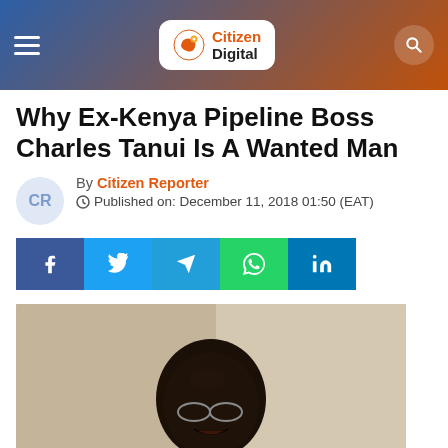Citizen Digital
Why Ex-Kenya Pipeline Boss Charles Tanui Is A Wanted Man
By Citizen Reporter
Published on: December 11, 2018 01:50 (EAT)
[Figure (screenshot): Social media share buttons: Facebook, Twitter, Telegram, WhatsApp, LinkedIn]
[Figure (photo): Man in grey suit with red striped tie speaking at a press conference with microphones in front of him]